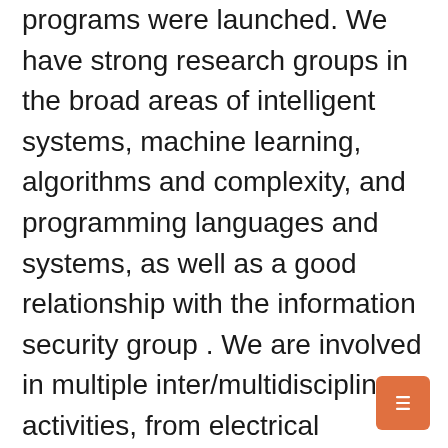programs were launched. We have strong research groups in the broad areas of intelligent systems, machine learning, algorithms and complexity, and programming languages and systems, as well as a good relationship with the information security group . We are involved in multiple inter/multidisciplinary activities, from electrical engineering to psychology and social sciences. Our research strength generates significant interest and opportunities for collaboration from universities and third-tier partners. Royal Holloway has also recently launched a research catalyst “Transformative digital technologies, security and society”, to which we wish to contribute.